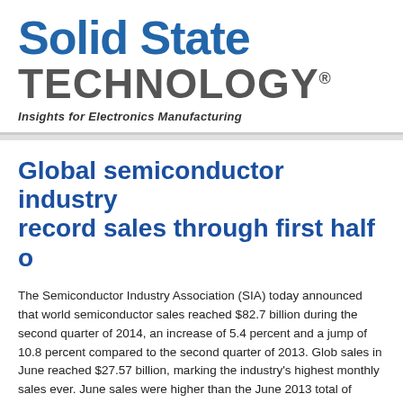Solid State TECHNOLOGY® Insights for Electronics Manufacturing
Global semiconductor industry record sales through first half o
The Semiconductor Industry Association (SIA) today announced that world semiconductor sales reached $82.7 billion during the second quarter of 2014, an increase of 5.4 percent and a jump of 10.8 percent compared to the second quarter of 2013. Global sales in June reached $27.57 billion, marking the industry's highest monthly sales ever. June sales were higher than the June 2013 total of $24.88 billion and 2.6 percent more than billion. Year-to-date sales during the first half of 2014 were 11.1 percent h